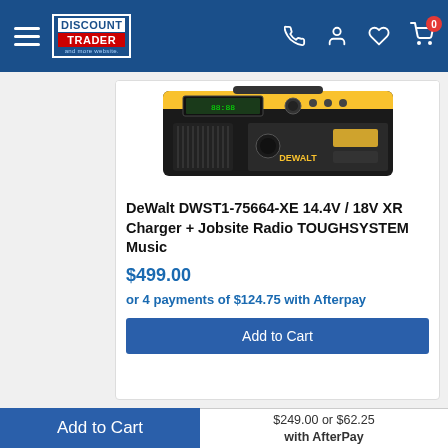Discount Trader navigation bar with hamburger menu, logo, phone, account, wishlist, and cart icons
[Figure (photo): DeWalt DWST1-75664-XE product image showing a black and yellow jobsite radio/charger unit, partially visible from the top]
DeWalt DWST1-75664-XE 14.4V / 18V XR Charger + Jobsite Radio TOUGHSYSTEM Music
$499.00
or 4 payments of $124.75 with Afterpay
Add to Cart
Add to Cart | $249.00 or $62.25 with AfterPay